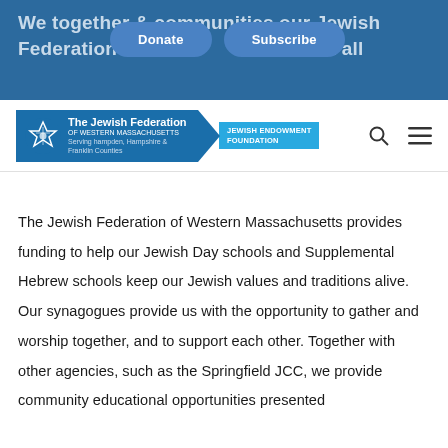We together & communities our Jewish Federation is ... it all
[Figure (logo): The Jewish Federation of Western Massachusetts logo with Jewish Endowment Foundation banner]
The Jewish Federation of Western Massachusetts provides funding to help our Jewish Day schools and Supplemental Hebrew schools keep our Jewish values and traditions alive. Our synagogues provide us with the opportunity to gather and worship together, and to support each other. Together with other agencies, such as the Springfield JCC, we provide community educational opportunities presented